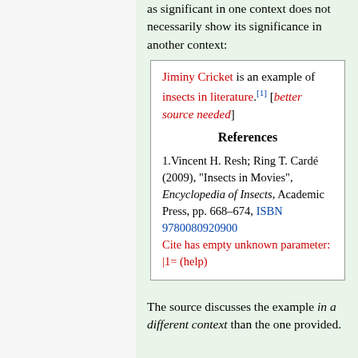as significant in one context does not necessarily show its significance in another context:
Jiminy Cricket is an example of insects in literature.[1] [better source needed]
References
1. Vincent H. Resh; Ring T. Cardé (2009), "Insects in Movies", Encyclopedia of Insects, Academic Press, pp. 668–674, ISBN 9780080920900 Cite has empty unknown parameter: |1= (help)
The source discusses the example in a different context than the one provided.